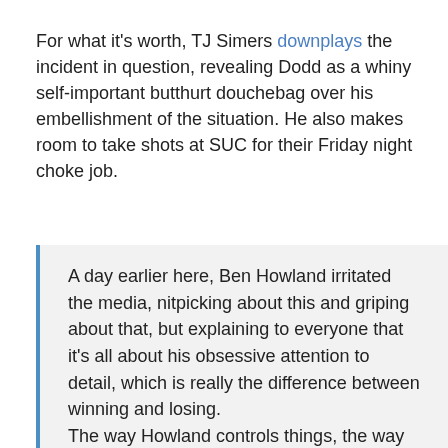For what it's worth, TJ Simers downplays the incident in question, revealing Dodd as a whiny self-important butthurt douchebag over his embellishment of the situation. He also makes room to take shots at SUC for their Friday night choke job.
A day earlier here, Ben Howland irritated the media, nitpicking about this and griping about that, but explaining to everyone that it's all about his obsessive attention to detail, which is really the difference between winning and losing. The way Howland controls things, the way he has UCLA winning basketball games and advancing to the Final Four every year, it's shocking to discover at this time of year that Howland isn't carrying a pair of scissors in his back pocket.